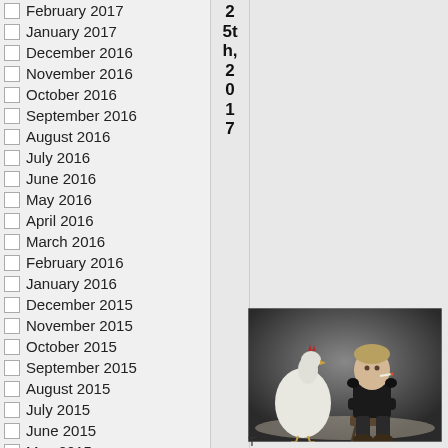February 2017
January 2017
December 2016
November 2016
October 2016
September 2016
August 2016
July 2016
June 2016
May 2016
April 2016
March 2016
February 2016
January 2016
December 2015
November 2015
October 2015
September 2015
August 2015
July 2015
June 2015
May 2015
April 2015
March 2015
February 2015
5th, 2017
[Figure (photo): Vintage black and white photograph of a young child sitting on a small stool/chair, with a white chicken/hen standing beside them. The child appears to be holding something (possibly a cigarette) in their mouth and has their arms crossed.]
T